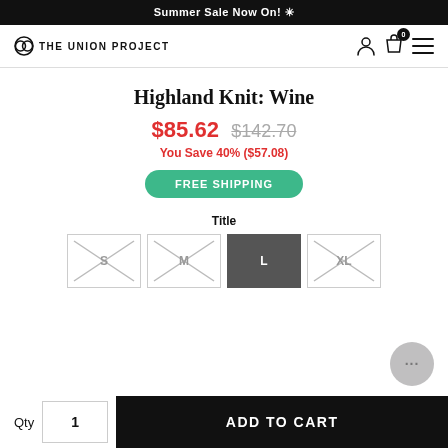Summer Sale Now On! ✳
[Figure (logo): The Union Project logo with circular icon]
Highland Knit: Wine
$85.62 $142.70
You Save 40% ($57.08)
FREE SHIPPING
Title
S  M  L  XL (size options, L selected)
Qty  1  ADD TO CART